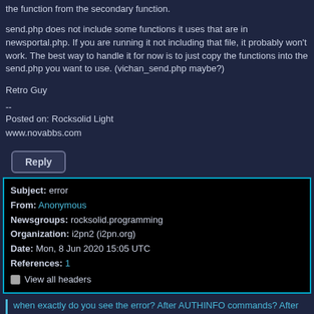the function from the secondary function.
send.php does not include some functions it uses that are in newsportal.php. If you are running it not including that file, it probably won't work. The best way to handle it for now is to just copy the functions into the send.php you want to use. (vichan_send.php maybe?)
Retro Guy
--
Posted on: Rocksolid Light
www.novabbs.com
Reply
| Subject: | error |
| From: | Anonymous |
| Newsgroups: | rocksolid.programming |
| Organization: | i2pn2 (i2pn.org) |
| Date: | Mon, 8 Jun 2020 15:05 UTC |
| References: | 1 |
|  | View all headers |
when exactly do you see the error? After AUTHINFO commands? After POST command?
i am not sure, because with telnet everything works, and with the program, i don't see exactly what happens. some screwing up the auth, i think.
actually, ihave or takethis would be better than post.
this will take a but more tinkering.
--
Posted on def2